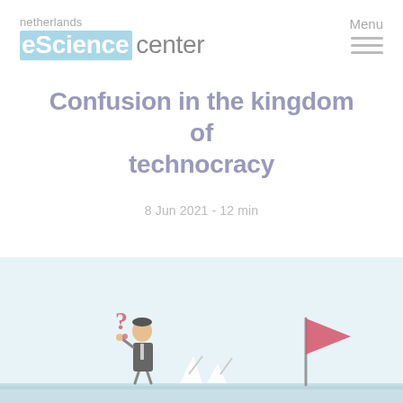netherlands eScience center  Menu
Confusion in the kingdom of technocracy
8 Jun 2021 - 12 min
[Figure (illustration): Illustration of a person in a suit looking confused with a question mark above their head, standing in a light blue landscape. On the right side is a pink/red flag on a pole. There are abstract angular white shapes in the center of the scene.]